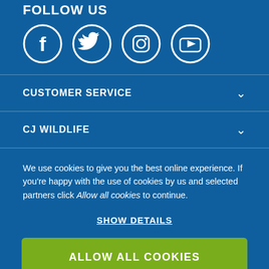FOLLOW US
[Figure (illustration): Four social media icons in white circles on blue background: Facebook, Twitter, Instagram, YouTube]
CUSTOMER SERVICE
CJ WILDLIFE
We use cookies to give you the best online experience. If you're happy with the use of cookies by us and selected partners click Allow all cookies to continue.
SHOW DETAILS
ALLOW ALL COOKIES